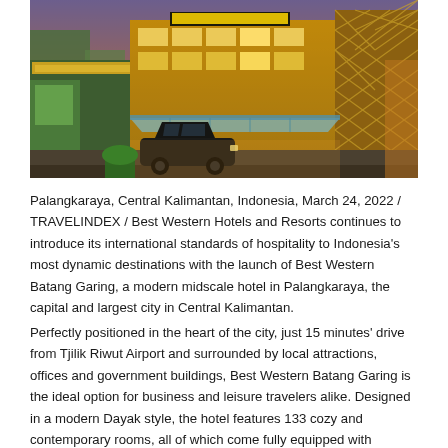[Figure (photo): Exterior photo of Best Western Batang Garing hotel at dusk/evening. The hotel building is lit with warm golden/amber lighting. The facade features a modern design with a diamond-pattern lattice wall on the right side and illuminated signage at the top. A dark SUV is parked in front of the entrance, which has a glass canopy. The sky is purple/blue dusk. Other buildings and storefronts are visible on the left side.]
Palangkaraya, Central Kalimantan, Indonesia, March 24, 2022 / TRAVELINDEX / Best Western Hotels and Resorts continues to introduce its international standards of hospitality to Indonesia's most dynamic destinations with the launch of Best Western Batang Garing, a modern midscale hotel in Palangkaraya, the capital and largest city in Central Kalimantan.
Perfectly positioned in the heart of the city, just 15 minutes' drive from Tjilik Riwut Airport and surrounded by local attractions, offices and government buildings, Best Western Batang Garing is the ideal option for business and leisure travelers alike. Designed in a modern Dayak style, the hotel features 133 cozy and contemporary rooms, all of which come fully equipped with